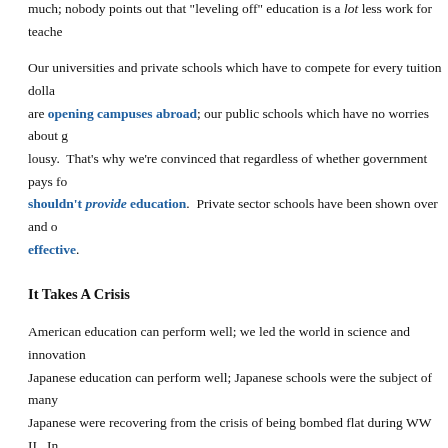much; nobody points out that "leveling off" education is a lot less work for teache...
Our universities and private schools which have to compete for every tuition dolla... are opening campuses abroad; our public schools which have no worries about g... lousy.  That's why we're convinced that regardless of whether government pays fo... shouldn't provide education.  Private sector schools have been shown over and o... effective.
It Takes A Crisis
American education can perform well; we led the world in science and innovation... Japanese education can perform well; Japanese schools were the subject of many ... Japanese were recovering from the crisis of being bombed flat during WW II.  In ... was brought about because government managed to convey a sense of crisis.  Our... Japanese government cited the fact that although they exported 15% of GNP, they... whole country on a 1% margin.
The Finns live in a small country which shares a long land border with the Soviet... that Russia has always had a pretty brisk attitude towards small, nearby countries... Russians call the "near abroad."  The Finnish sense of crisis is permanent due to... keepe a small country on its toes.  The Japanese and Americans grew wealthy th...